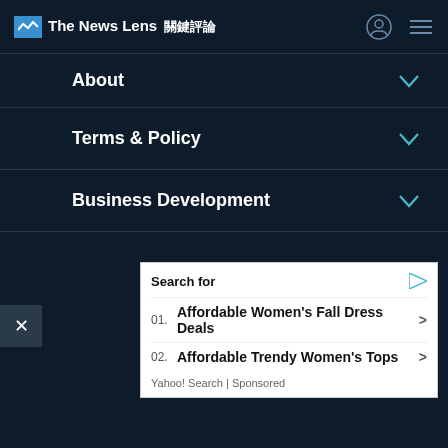The News Lens 關鍵評論
About
Terms & Policy
Business Development
Media and Services
Contact Us
[Figure (screenshot): Advertisement box with 'Search for' header and two sponsored search results: '01. Affordable Women's Fall Dress Deals' and '02. Affordable Trendy Women's Tops', sourced from Yahoo! Search | Sponsored]